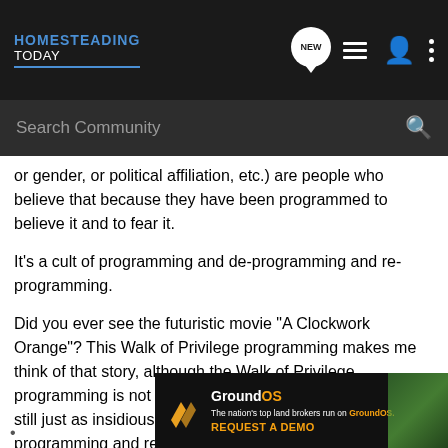HOMESTEADING TODAY
or gender, or political affiliation, etc.) are people who believe that because they have been programmed to believe it and to fear it.
It's a cult of programming and de-programming and re-programming.
Did you ever see the futuristic movie "A Clockwork Orange"? This Walk of Privilege programming makes me think of that story, although the Walk of Privilege programming is not as physically violent and blatant, it's still just as insidious and dangerous as the de-programming and re-programming that happened in the Clockwork Orange story.
[Figure (other): GroundOS advertisement banner: 'The nation's top land brokers run on GroundOS. REQUEST A DEMO']